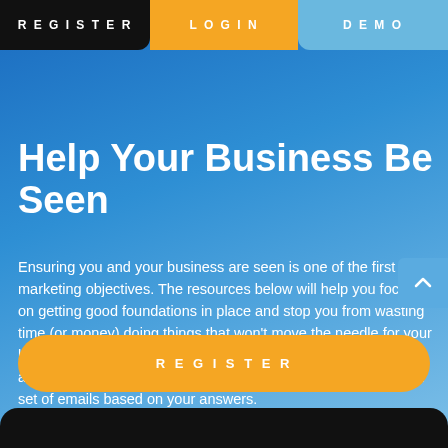REGISTER   LOGIN   DEMO
Help Your Business Be Seen
Ensuring you and your business are seen is one of the first marketing objectives. The resources below will help you focus on getting good foundations in place and stop you from wasting time (or money) doing things that won't move the needle for your business. If you've completed one of our quizzes or assessments, keep an eye out on your inbox for a personalised set of emails based on your answers.
REGISTER